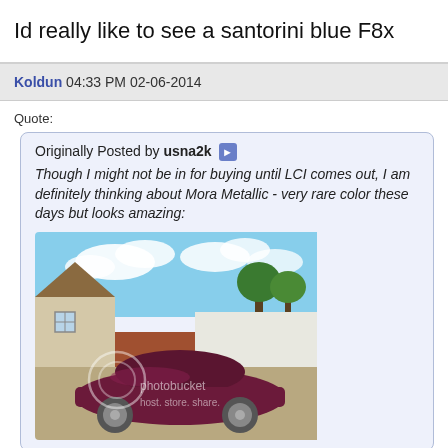Id really like to see a santorini blue F8x
Koldun 04:33 PM 02-06-2014
Quote:
Originally Posted by usna2k — Though I might not be in for buying until LCI comes out, I am definitely thinking about Mora Metallic - very rare color these days but looks amazing:
[Figure (photo): A dark purple/Mora Metallic BMW sedan parked in front of a house on a sunny day, with photobucket watermark overlay]